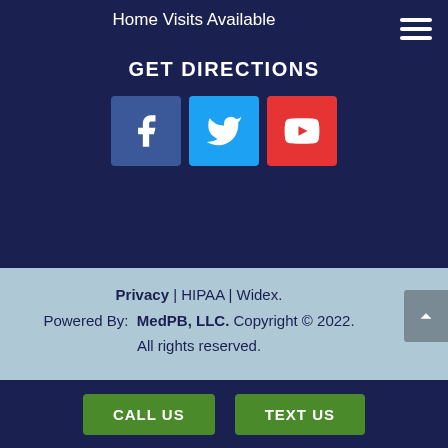Home Visits Available
GET DIRECTIONS
[Figure (infographic): Social media icons: Facebook (blue), Twitter (light blue), YouTube (red)]
Privacy | HIPAA | Widex.
Powered By: MedPB, LLC. Copyright © 2022.
All rights reserved.
CALL US
TEXT US